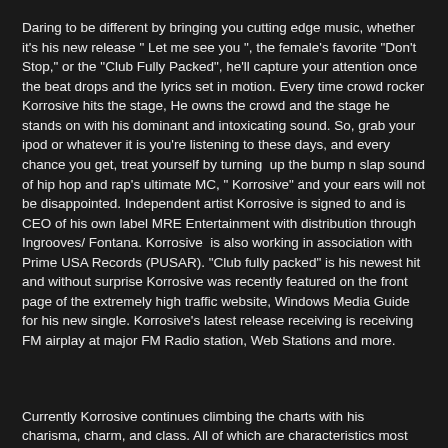Daring to be different by bringing you cutting edge music, whether it's his new release " Let me see you ", the female's favorite "Don't Stop," or the "Club Fully Packed", he'll capture your attention once the beat drops and the lyrics set in motion. Every time crowd rocker Korrosive hits the stage, He owns the crowd and the stage he stands on with his dominant and intoxicating sound. So, grab your ipod or whatever it is you're listening to these days, and every chance you get, treat yourself by turning  up the bump n slap sound of hip hop and rap's ultimate MC, " Korrosive" and your ears will not be disappointed. Independent artist Korrosive is signed to and is CEO of his own label MRE Entertainment with distribution through Ingrooves/ Fontana. Korrosive  is also working in association with Prime USA Records (PUSAR). "Club fully packed" is his newest hit and without surprise Korrosive was recently featured on the front page of the extremely high traffic website, Windows Media Guide for his new single. Korrosive's latest release receiving is receiving FM airplay at major FM Radio station, Web Stations and more.
Currently Korrosive continues climbing the charts with his charisma, charm, and class. All of which are characteristics most MC's, Hip-Hop and Rappers don't always posses; making his stand out as a rarity. With the dog-eat-dog world that the music industry consists of, Korrosive's classy qualities a welcome change to most. Then again, Korrosive is not your ordinary artist.
“I will be working with Tony x Franklin and element 9 muzik with upcoming features projects; I look forward to the collaboration and all of what 2013 has in